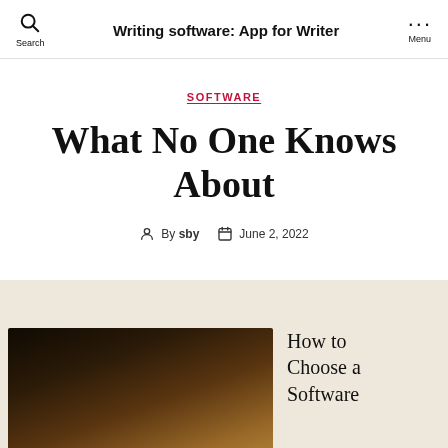Writing software: App for Writer
SOFTWARE
What No One Knows About
By sby  June 2, 2022
[Figure (photo): Dark blurred image, likely a moody/dark background photograph]
How to Choose a Software